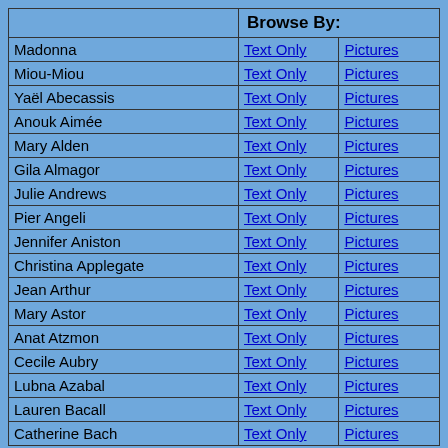|  | Browse By: |  |
| --- | --- | --- |
| Madonna | Text Only | Pictures |
| Miou-Miou | Text Only | Pictures |
| Yaël Abecassis | Text Only | Pictures |
| Anouk Aimée | Text Only | Pictures |
| Mary Alden | Text Only | Pictures |
| Gila Almagor | Text Only | Pictures |
| Julie Andrews | Text Only | Pictures |
| Pier Angeli | Text Only | Pictures |
| Jennifer Aniston | Text Only | Pictures |
| Christina Applegate | Text Only | Pictures |
| Jean Arthur | Text Only | Pictures |
| Mary Astor | Text Only | Pictures |
| Anat Atzmon | Text Only | Pictures |
| Cecile Aubry | Text Only | Pictures |
| Lubna Azabal | Text Only | Pictures |
| Lauren Bacall | Text Only | Pictures |
| Catherine Bach | Text Only | Pictures |